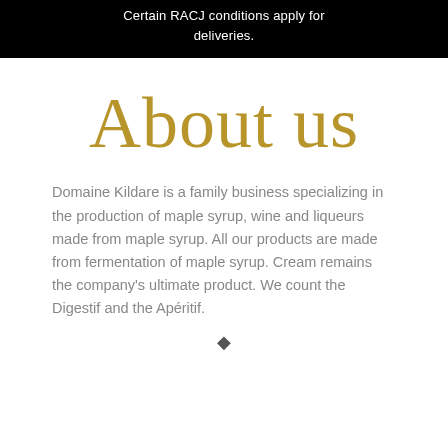Certain RACJ conditions apply for deliveries.
About us
Domaine Kildare is a family business specializing in the production of maple syrup, wine and liqueurs made from maple syrup. All our products are made from fermentation of maple syrup. Cream remains the company's ultimate product. We count the Digestif and the Apéritif.